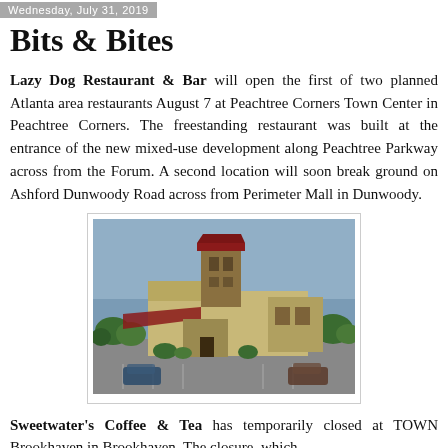Wednesday, July 31, 2019
Bits & Bites
Lazy Dog Restaurant & Bar will open the first of two planned Atlanta area restaurants August 7 at Peachtree Corners Town Center in Peachtree Corners. The freestanding restaurant was built at the entrance of the new mixed-use development along Peachtree Parkway across from the Forum. A second location will soon break ground on Ashford Dunwoody Road across from Perimeter Mall in Dunwoody.
[Figure (photo): Aerial/exterior photo of Lazy Dog Restaurant & Bar building, a rustic multi-story structure with a stone tower, red accents, and surrounded by parking lot and trees under a blue sky.]
Sweetwater's Coffee & Tea has temporarily closed at TOWN Brookhaven in Brookhaven. The closure, which